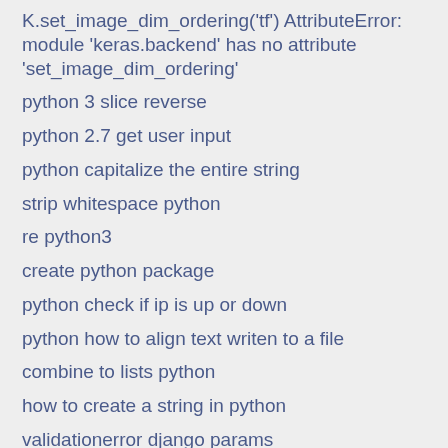K.set_image_dim_ordering('tf') AttributeError: module 'keras.backend' has no attribute 'set_image_dim_ordering'
python 3 slice reverse
python 2.7 get user input
python capitalize the entire string
strip whitespace python
re python3
create python package
python check if ip is up or down
python how to align text writen to a file
combine to lists python
how to create a string in python
validationerror django params